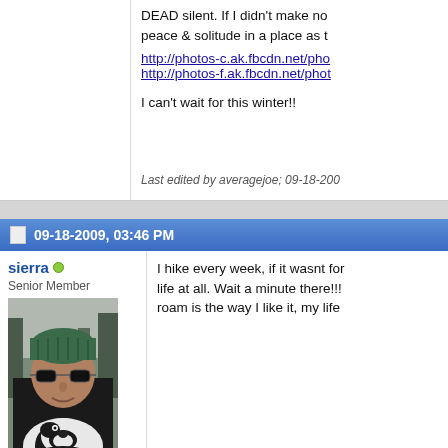DEAD silent. If I didn't make no peace & solitude in a place as t
http://photos-c.ak.fbcdn.net/pho
http://photos-f.ak.fbcdn.net/phot
I can't wait for this winter!!
Last edited by averagejoe; 09-18-200
09-18-2009, 03:46 PM
sierra
Senior Member
[Figure (photo): Man wearing green winter hat and sunglasses holding a black and white dog outdoors with trees in background]
I hike every week, if it wasnt for life at all. Wait a minute there!!! roam is the way I like it, my life